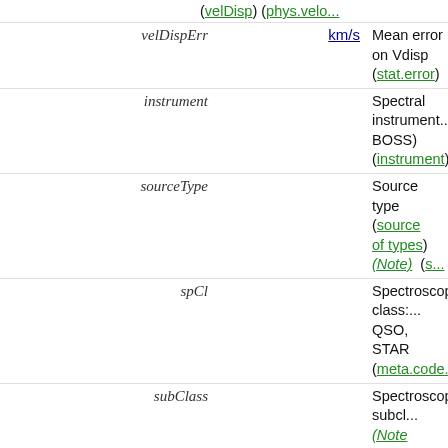| Name | Value | Description |
| --- | --- | --- |
| velDispErr | km/s | Mean error on Vdisp (velDisp) (phys.veloc...) (stat.error) |
| instrument |  | Spectral instrument ... BOSS) (instrument) |
| sourceType |  | Source type (source... of types) (Note) (s...) |
| spCl |  | Spectroscopic class:... QSO, STAR (meta.code.class;pos...) |
| subClass |  | Spectroscopic subcl... (Note 11) (src.spTy...) |
| snMedian |  | [0/132] Median sign... over all good pixels (em.wl.central;stat.n...) |
| flags_u | 9007199388992793 | Detection flags, u b... (Note 3) (meta.cod...) |
| probPSF_u | 1 | 0=notStar, 1=Star in... (probPSF_u) (src.cl...) |
| type_u | 6 | [0/6] Phototype in u... (type_u) (Note 1) (src.class.starGalax...) |
| uDate | 2003.8091 yr | Date of observation... |